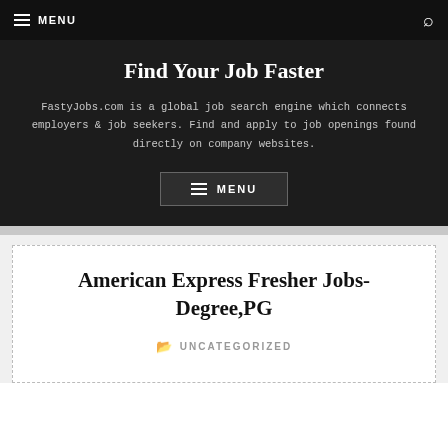MENU
Find Your Job Faster
FastyJobs.com is a global job search engine which connects employers & job seekers. Find and apply to job openings found directly on company websites.
MENU
American Express Fresher Jobs-Degree,PG
UNCATEGORIZED